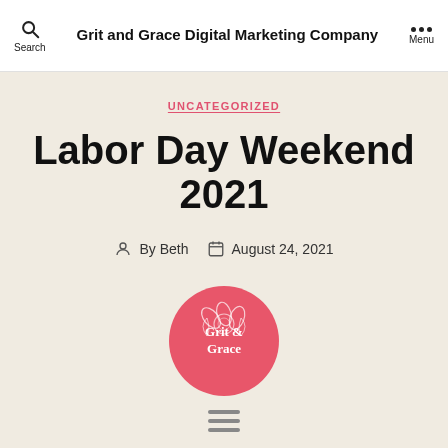Grit and Grace Digital Marketing Company
UNCATEGORIZED
Labor Day Weekend 2021
By Beth  August 24, 2021
[Figure (logo): Circular pink logo with floral illustration and text 'Grit & Grace']